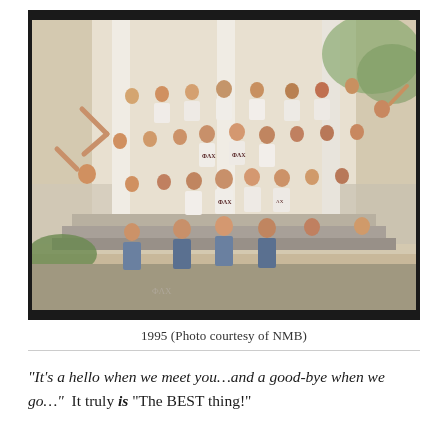[Figure (photo): A group photo from 1995 of sorority women (Phi Lambda Chi / ΦΛΧ) posed on the porch steps of a house. The women are wearing white t-shirts with Greek letters and jeans, waving and making peace signs. Photo in warm vintage tone.]
1995 (Photo courtesy of NMB)
“It’s a hello when we meet you…and a good-bye when we go…”  It truly is “The BEST thing!”